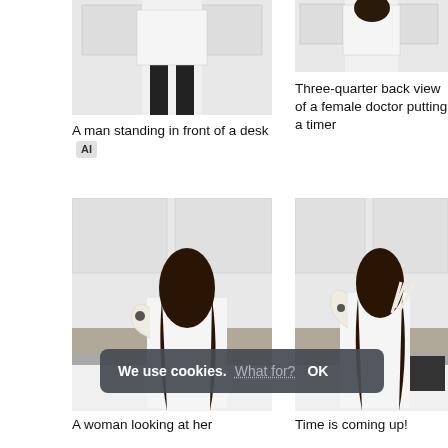[Figure (photo): A man in a white coat standing in front of a desk, showing lower body with black trousers]
A man standing in front of a desk  AI
[Figure (photo): Three-quarter back view of a female doctor in white coat]
Three-quarter back view of a female doctor putting a timer
[Figure (photo): A woman in white coat looking at her watch, back view, in a kitchen setting]
[Figure (photo): A woman in white coat with hands raised, three-quarter back view, in a kitchen setting]
We use cookies. What for? OK
A woman looking at her
Time is coming up!